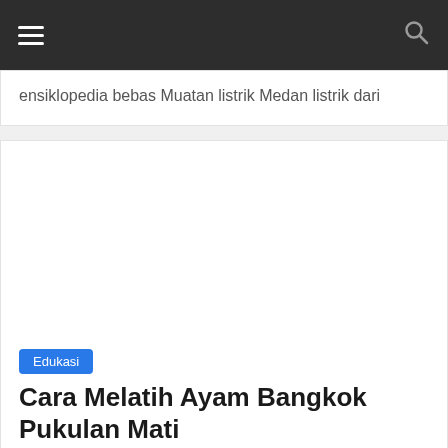[Figure (screenshot): Navigation bar with hamburger menu icon on left and search icon on right, dark background]
ensiklopedia bebas Muatan listrik Medan listrik dari
[Figure (photo): White blank image area / placeholder for article image]
Edukasi
Cara Melatih Ayam Bangkok Pukulan Mati
1 jam ago  Erika Rahmatalita  1 Views  ayam, bangkok,